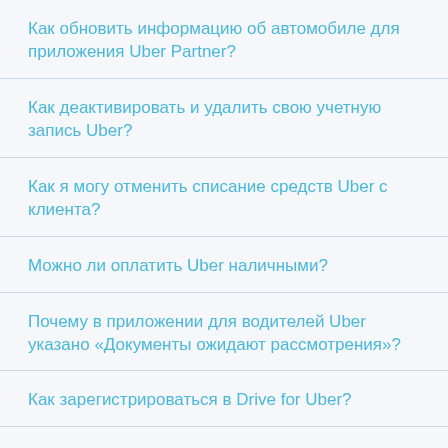Как обновить информацию об автомобиле для приложения Uber Partner?
Как деактивировать и удалить свою учетную запись Uber?
Как я могу отменить списание средств Uber с клиента?
Можно ли оплатить Uber наличными?
Почему в приложении для водителей Uber указано «Документы ожидают рассмотрения»?
Как зарегистрироваться в Drive for Uber?